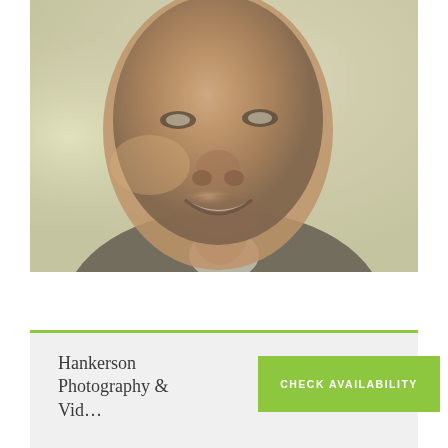[Figure (photo): Close-up portrait of a smiling Black man in a suit, slightly faded/washed out photo effect]
Hankerson Photography &
Vid…
CHECK AVAILABILITY